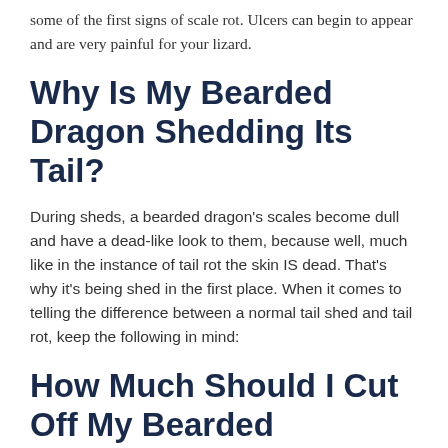some of the first signs of scale rot. Ulcers can begin to appear and are very painful for your lizard.
Why Is My Bearded Dragon Shedding Its Tail?
During sheds, a bearded dragon's scales become dull and have a dead-like look to them, because well, much like in the instance of tail rot the skin IS dead. That's why it's being shed in the first place. When it comes to telling the difference between a normal tail shed and tail rot, keep the following in mind:
How Much Should I Cut Off My Bearded Dragon's